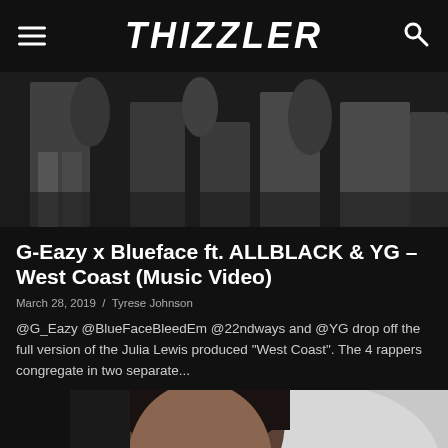THIZZLER
[Figure (photo): Black and white photo of people standing, showing legs and lower bodies in a crowd scene]
G-Eazy x Blueface ft. ALLBLACK & YG – West Coast (Music Video)
March 28, 2019  /  Tyrese Johnson
@G_Eazy @BlueFaceBleedEm @22ndways and @YG drop off the full version of the Julia Lewis produced "West Coast". The 4 rappers congregate in two separate...
[Figure (photo): Close-up photo of a man's face, dark hair, looking slightly downward, on a light background]